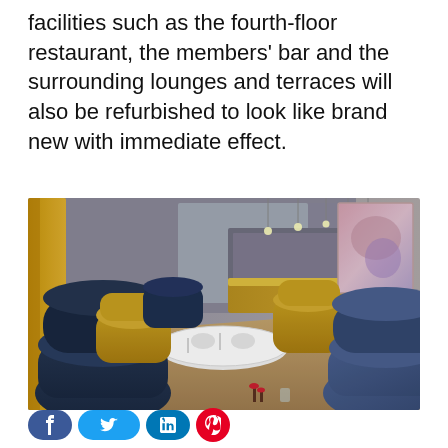facilities such as the fourth-floor restaurant, the members' bar and the surrounding lounges and terraces will also be refurbished to look like brand new with immediate effect.
[Figure (photo): Interior rendering of a modern upscale restaurant with navy blue and mustard yellow armchairs, white-clothed dining tables, pendant lighting, a bar in the background, and abstract artwork on the wall.]
Social share buttons: Facebook, Twitter, LinkedIn, Pinterest